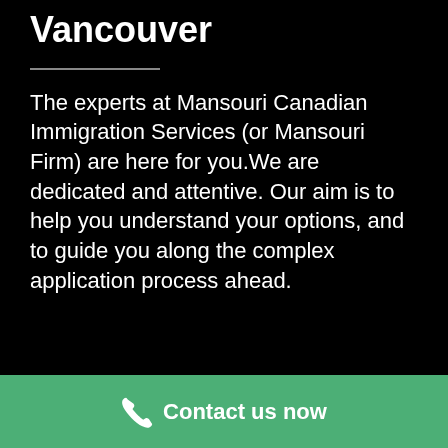Vancouver
The experts at Mansouri Canadian Immigration Services (or Mansouri Firm) are here for you.We are dedicated and attentive. Our aim is to help you understand your options, and to guide you along the complex application process ahead.
Contact us now